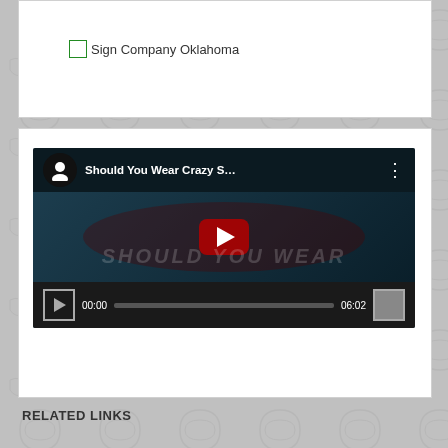[Figure (screenshot): Broken image placeholder showing alt text 'Sign Company Oklahoma' in a white card area]
[Figure (screenshot): Embedded YouTube video player showing 'Should You Wear Crazy S...' with a man holding colorful ties/scarves, red play button, timestamp 00:00 and duration 06:02]
RELATED LINKS